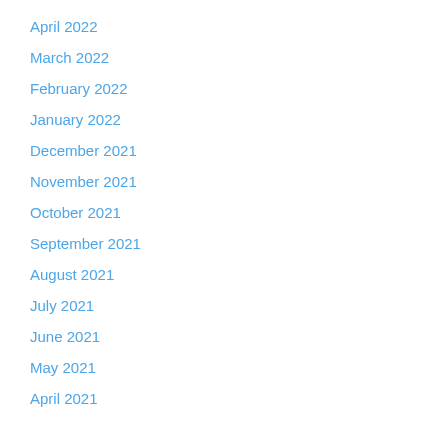April 2022
March 2022
February 2022
January 2022
December 2021
November 2021
October 2021
September 2021
August 2021
July 2021
June 2021
May 2021
April 2021